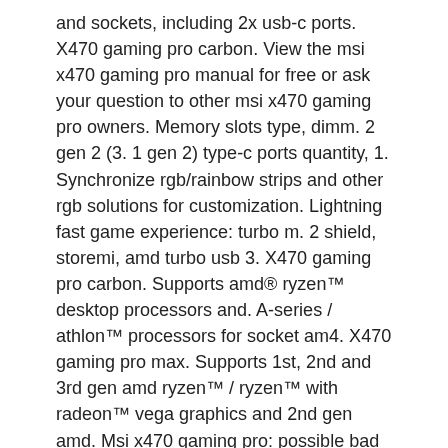and sockets, including 2x usb-c ports. X470 gaming pro carbon. View the msi x470 gaming pro manual for free or ask your question to other msi x470 gaming pro owners. Memory slots type, dimm. 2 gen 2 (3. 1 gen 2) type-c ports quantity, 1. Synchronize rgb/rainbow strips and other rgb solutions for customization. Lightning fast game experience: turbo m. 2 shield, storemi, amd turbo usb 3. X470 gaming pro carbon. Supports amd® ryzen™ desktop processors and. A-series / athlon™ processors for socket am4. X470 gaming pro max. Supports 1st, 2nd and 3rd gen amd ryzen™ / ryzen™ with radeon™ vega graphics and 2nd gen amd. Msi x470 gaming pro: possible bad usb port causing usb hard drive corruption. But you do get type-a and type-c usb 3. 1 ports on the rear i/o panel. 4/sata 6 gb/s + m. 0 x4 ports; 2 pci-express 3. 0 16x ports; usb 3